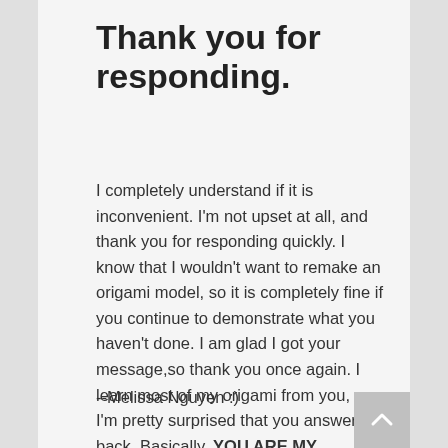Thank you for responding.
I completely understand if it is inconvenient. I'm not upset at all, and thank you for responding quickly. I know that I wouldn't want to remake an origami model, so it is completely fine if you continue to demonstrate what you haven't done. I am glad I got your message,so thank you once again. I learn most of my origami from you, so I'm pretty surprised that you answered back. Basically, YOU ARE MY INSPIRATION!!! :)
--Melissa Nguyen :)